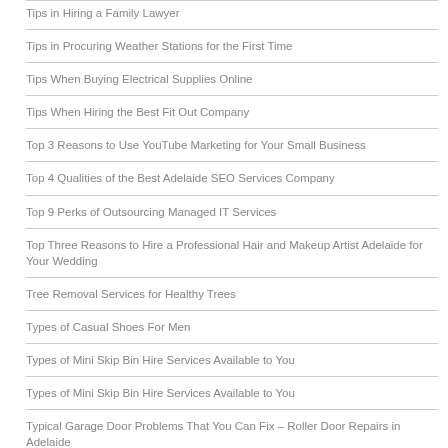Tips in Hiring a Family Lawyer
Tips in Procuring Weather Stations for the First Time
Tips When Buying Electrical Supplies Online
Tips When Hiring the Best Fit Out Company
Top 3 Reasons to Use YouTube Marketing for Your Small Business
Top 4 Qualities of the Best Adelaide SEO Services Company
Top 9 Perks of Outsourcing Managed IT Services
Top Three Reasons to Hire a Professional Hair and Makeup Artist Adelaide for Your Wedding
Tree Removal Services for Healthy Trees
Types of Casual Shoes For Men
Types of Mini Skip Bin Hire Services Available to You
Types of Mini Skip Bin Hire Services Available to You
Typical Garage Door Problems That You Can Fix – Roller Door Repairs in Adelaide